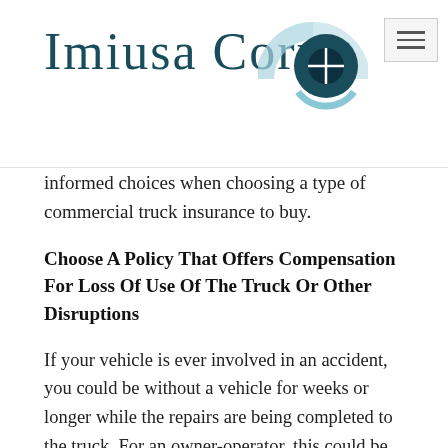IMIUSA CORP
informed choices when choosing a type of commercial truck insurance to buy.
Choose A Policy That Offers Compensation For Loss Of Use Of The Truck Or Other Disruptions
If your vehicle is ever involved in an accident, you could be without a vehicle for weeks or longer while the repairs are being completed to the truck. For an owner-operator, this could be extremely costly as they may be completely unable to work during this time. Many commercial truck driver insurance policies can